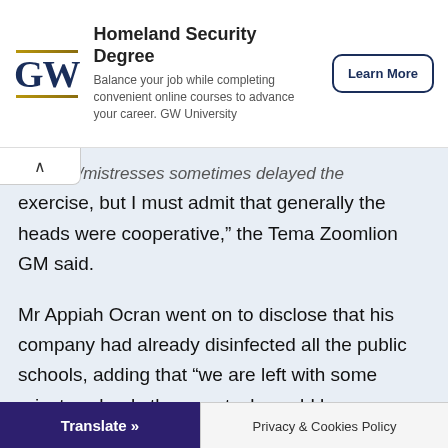[Figure (other): GW University advertisement banner with GW logo, title 'Homeland Security Degree', subtitle text, and 'Learn More' button]
masters/mistresses sometimes delayed the exercise, but I must admit that generally the heads were cooperative," the Tema Zoomlion GM said.
Mr Appiah Ocran went on to disclose that his company had already disinfected all the public schools, adding that “we are left with some private schools then our task would be complete.”
“The public schools in Tema are dotted in Communities Two, Five, Klagon, Adjiringanor areas,
Translate »   Privacy & Cookies Policy